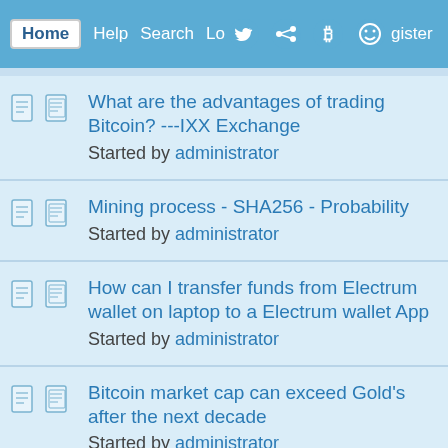Home  Help  Search  Login  Register
What are the advantages of trading Bitcoin? ---IXX Exchange
Started by administrator
Mining process - SHA256 - Probability
Started by administrator
How can I transfer funds from Electrum wallet on laptop to a Electrum wallet App
Started by administrator
Bitcoin market cap can exceed Gold's after the next decade
Started by administrator
A crypto startup is now funding